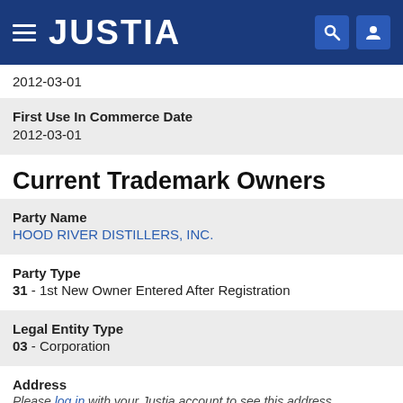JUSTIA
2012-03-01
First Use In Commerce Date
2012-03-01
Current Trademark Owners
Party Name
HOOD RIVER DISTILLERS, INC.
Party Type
31 - 1st New Owner Entered After Registration
Legal Entity Type
03 - Corporation
Address
Please log in with your Justia account to see this address